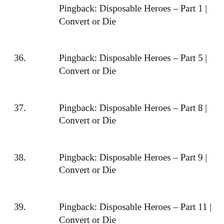Pingback: Disposable Heroes – Part 1 | Convert or Die
36. Pingback: Disposable Heroes – Part 5 | Convert or Die
37. Pingback: Disposable Heroes – Part 8 | Convert or Die
38. Pingback: Disposable Heroes – Part 9 | Convert or Die
39. Pingback: Disposable Heroes – Part 11 | Convert or Die